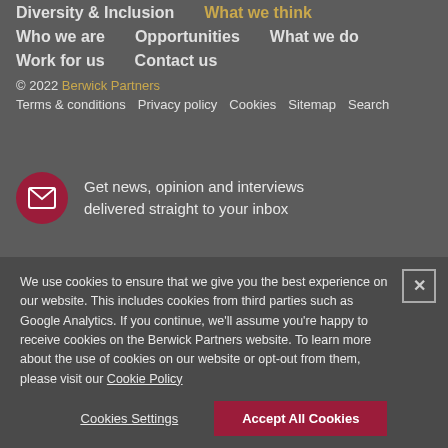Diversity & Inclusion  What we think
Who we are    Opportunities    What we do
Work for us    Contact us
© 2022 Berwick Partners
Terms & conditions   Privacy policy   Cookies   Sitemap   Search
Get news, opinion and interviews delivered straight to your inbox
Instagram   @BerwickPartners
We use cookies to ensure that we give you the best experience on our website. This includes cookies from third parties such as Google Analytics. If you continue, we'll assume you're happy to receive cookies on the Berwick Partners website. To learn more about the use of cookies on our website or opt-out from them, please visit our Cookie Policy
Cookies Settings
Accept All Cookies